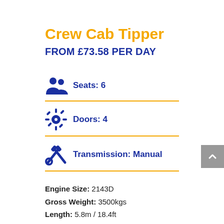Crew Cab Tipper
FROM £73.58 PER DAY
Seats: 6
Doors: 4
Transmission: Manual
Engine Size: 2143D
Gross Weight: 3500kgs
Length: 5.8m / 18.4ft